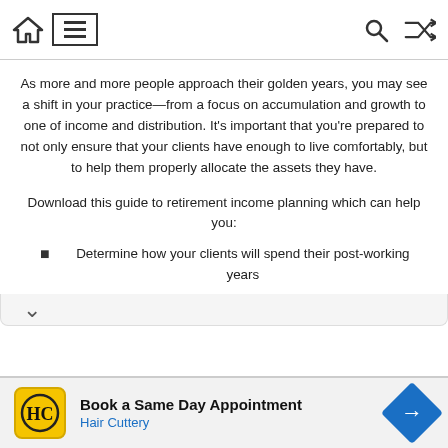Navigation bar with home, menu, search, and shuffle icons
As more and more people approach their golden years, you may see a shift in your practice—from a focus on accumulation and growth to one of income and distribution. It's important that you're prepared to not only ensure that your clients have enough to live comfortably, but to help them properly allocate the assets they have.
Download this guide to retirement income planning which can help you:
Determine how your clients will spend their post-working years
[Figure (screenshot): Advertisement banner for Hair Cuttery: Book a Same Day Appointment]